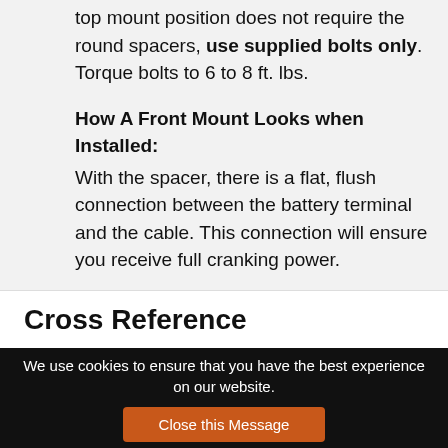top mount position does not require the round spacers, use supplied bolts only. Torque bolts to 6 to 8 ft. lbs.
How A Front Mount Looks when Installed:
With the spacer, there is a flat, flush connection between the battery terminal and the cable. This connection will ensure you receive full cranking power.
Cross Reference
We use cookies to ensure that you have the best experience on our website.